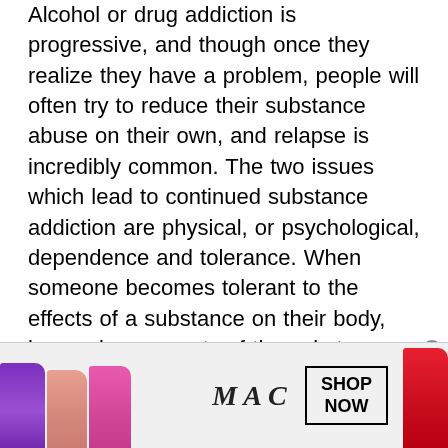Alcohol or drug addiction is progressive, and though once they realize they have a problem, people will often try to reduce their substance abuse on their own, and relapse is incredibly common. The two issues which lead to continued substance addiction are physical, or psychological, dependence and tolerance. When someone becomes tolerant to the effects of a substance on their body, increasing amounts of the substance are needed to fulfill the desired effects. In turn, this only serves to aid the growing development of dependence. This is when the body and mind become reliant on the continued use of a substance just to function normally, and if the
[Figure (photo): Advertisement banner for MAC cosmetics showing colorful lipsticks (purple, nude, pink, red) on the left, MAC logo in the center, and a 'SHOP NOW' button on the right.]